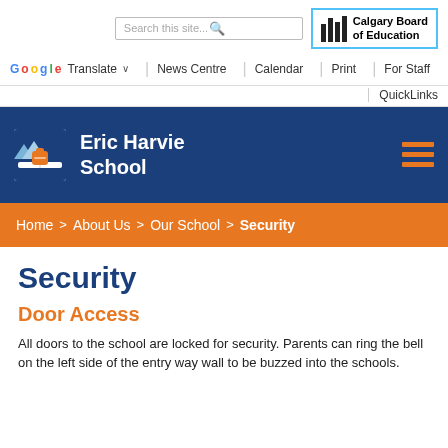Search this site... [search icon] | Calgary Board of Education
Google Translate | News Centre | Calendar | Print | For Staff | QuickLinks
Eric Harvie School
Home > About Us > Our School > Security
Security
Door Access
All doors to the school are locked for security. Parents can ring the bell on the left side of the entry way wall to be buzzed into the schools.